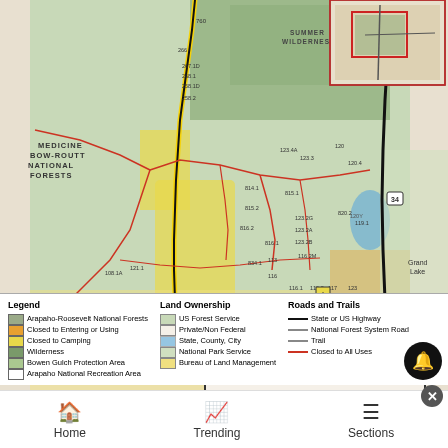[Figure (map): National Forest and Rocky Mountain National Park area map showing Arapaho-Roosevelt National Forests, Medicine Bow-Routt National Forests, Rocky Mountain National Park, road numbers, trails, land ownership areas with color coding, and an inset map of Bull Mountain Camping Area Closed To All Use. A yellow highlighted route runs north-south through the center-left. Red lines indicate closed roads/trails. Green shading shows forest service land. Orange shading shows closed-to-entering areas. Inset box in upper right shows regional location map. Inset box in lower center-right shows Bull Mountain Camping Area detail with orange closed camping areas labeled 835.2B and 835.2A.]
Legend
Arapaho-Roosevelt National Forests
Closed to Entering or Using
Closed to Camping
Wilderness
Bowen Gulch Protection Area
Arapaho National Recreation Area
Land Ownership
US Forest Service
Private/Non Federal
State, County, City
National Park Service
Bureau of Land Management
Roads and Trails
State or US Highway
National Forest System Road
Trail
Closed to All Uses
Home   Trending   Sections